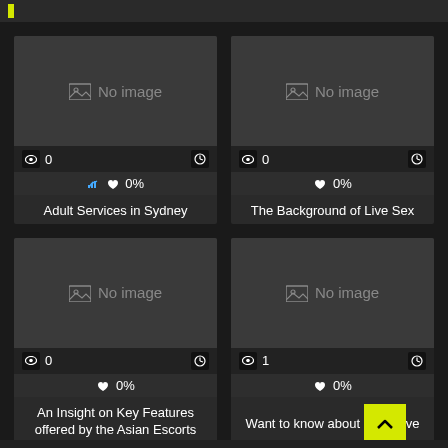[Figure (screenshot): Card thumbnail showing 'No image' placeholder with eye icon showing 0 views and clock icon, 0% rating. Title: Adult Services in Sydney]
[Figure (screenshot): Card thumbnail showing 'No image' placeholder with eye icon showing 0 views and clock icon, 0% rating. Title: The Background of Live Sex]
[Figure (screenshot): Card thumbnail showing 'No image' placeholder with eye icon showing 0 views and clock icon, 0% rating. Title: An Insight on Key Features offered by the Asian Escorts]
[Figure (screenshot): Card thumbnail showing 'No image' placeholder with eye icon showing 1 view and clock icon, 0% rating. Title: Want to know about the exclusive deals offered by Atlanta]